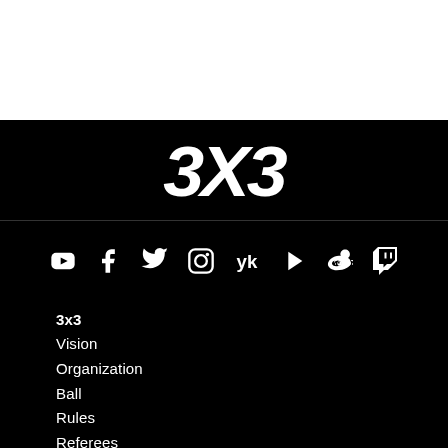[Figure (logo): White top section (blank)]
[Figure (logo): 3x3 basketball logo in white on black background, stylized bold italic text]
[Figure (infographic): Social media icons row: YouTube, Facebook, Twitter, Instagram, VK, Rutube/Play, Weibo, Twitch]
3x3
Vision
Organization
Ball
Rules
Referees
Competition network
Pro career